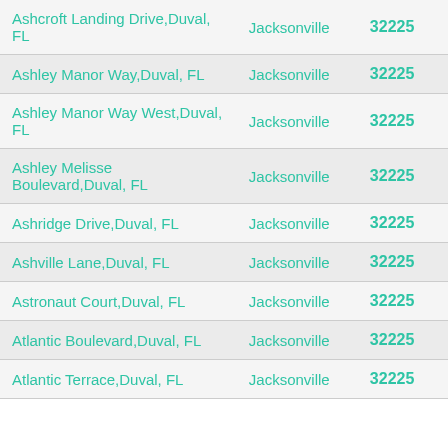| Street | City | ZIP |
| --- | --- | --- |
| Ashcroft Landing Drive,Duval, FL | Jacksonville | 32225 |
| Ashley Manor Way,Duval, FL | Jacksonville | 32225 |
| Ashley Manor Way West,Duval, FL | Jacksonville | 32225 |
| Ashley Melisse Boulevard,Duval, FL | Jacksonville | 32225 |
| Ashridge Drive,Duval, FL | Jacksonville | 32225 |
| Ashville Lane,Duval, FL | Jacksonville | 32225 |
| Astronaut Court,Duval, FL | Jacksonville | 32225 |
| Atlantic Boulevard,Duval, FL | Jacksonville | 32225 |
| Atlantic Terrace,Duval, FL | Jacksonville | 32225 |